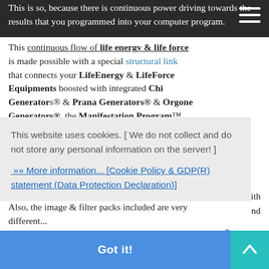This is so, because there is continuous power driving towards the results that you programmed into your computer program. This continuous flow of life energy & life force is made possible with a special structural link that connects your LifeEnergy & LifeForce Equipments boosted with integrated Chi Generators® & Prana Generators® & Orgone Generators®. the Manifestation Program™
This website uses cookies. [ We do not collect and do not store any personal information on the server! ] »» More information... [Cookie Policy & GDP(R) statement (Data Protection Declaration)]
Also, the image & filter packs included are very different...